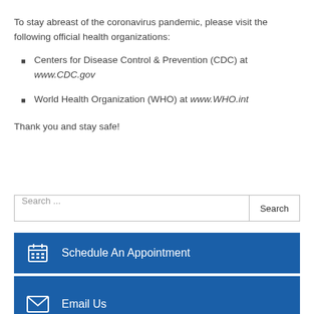To stay abreast of the coronavirus pandemic, please visit the following official health organizations:
Centers for Disease Control & Prevention (CDC) at www.CDC.gov
World Health Organization (WHO) at www.WHO.int
Thank you and stay safe!
Search ...
Schedule An Appointment
Patient History Form
Email Us